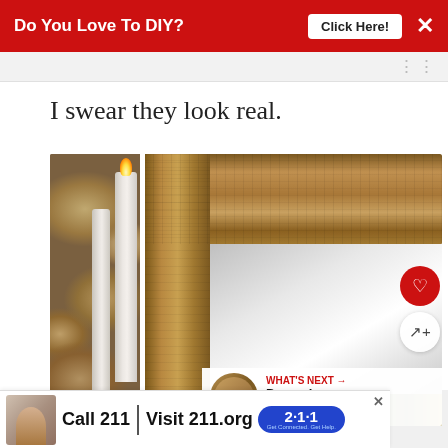[Figure (infographic): Red advertisement banner at top: 'Do You Love To DIY?' with 'Click Here!' button and X close button]
I swear they look real.
[Figure (photo): Close-up photo of a decorative carved wooden mirror frame with ornate leaf/vine patterns, white taper candles with flame visible on the left against a stone/rock background, and a glimpse of holiday greenery at the bottom right. A red heart/favorite button and a share button overlay the right side of the image.]
[Figure (infographic): What's Next panel at bottom right of image: thumbnail image, label 'WHAT'S NEXT →', text 'December Decor...And ...']
[Figure (infographic): Bottom advertisement banner: image of a woman, 'Call 211 | Visit 211.org' with blue 2·1·1 badge logo]